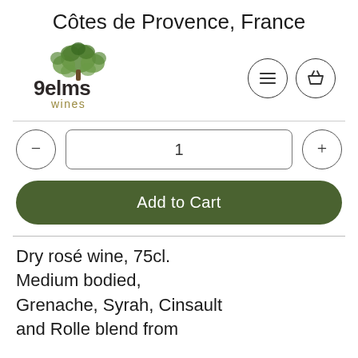Côtes de Provence, France
[Figure (logo): 9elms wines logo with a tree illustration above the text '9elms wines']
Dry rosé wine, 75cl. Medium bodied, Grenache, Syrah, Cinsault and Rolle blend from